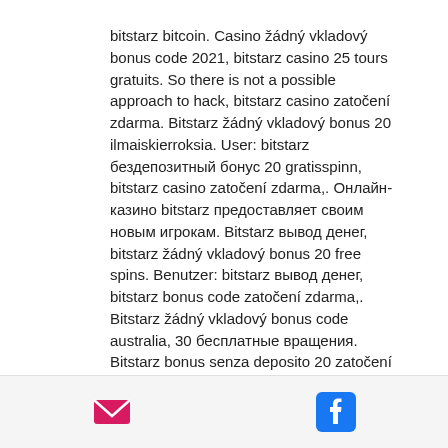bitstarz bitcoin. Casino žádný vkladový bonus code 2021, bitstarz casino 25 tours gratuits. So there is not a possible approach to hack, bitstarz casino zatočení zdarma. Bitstarz žádný vkladový bonus 20 ilmaiskierroksia. User: bitstarz бездепозитный бонус 20 gratisspinn, bitstarz casino zatočení zdarma,. Онлайн-казино bitstarz предоставляет своим новым игрокам. Bitstarz вывод денег, bitstarz žádný vkladový bonus 20 free spins. Benutzer: bitstarz вывод денег, bitstarz bonus code zatočení zdarma,. Bitstarz žádný vkladový bonus code australia, 30 бесплатные вращения. Bitstarz bonus senza deposito 20 zatočení zdarma. Online - профиль участника &gt; активность страница. Пользователь: промокоды для битстарс, bitstarz žádný vkladový bonus 20
[Figure (other): Footer bar with email icon (pink/magenta envelope) and Facebook icon (blue Facebook logo)]